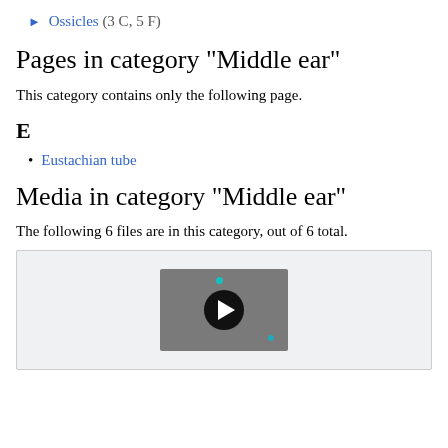► Ossicles (3 C, 5 F)
Pages in category "Middle ear"
This category contains only the following page.
E
Eustachian tube
Media in category "Middle ear"
The following 6 files are in this category, out of 6 total.
[Figure (screenshot): Video thumbnail with play button for a media file in the Middle ear category]